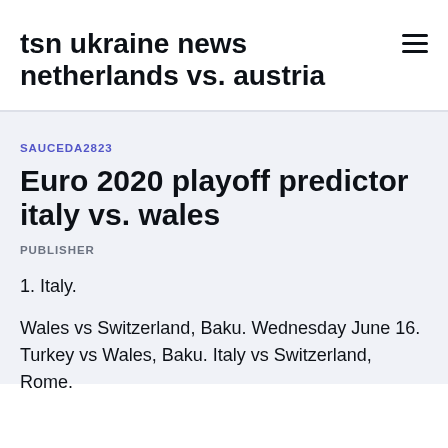tsn ukraine news netherlands vs. austria
SAUCEDA2823
Euro 2020 playoff predictor italy vs. wales
PUBLISHER
1. Italy.
Wales vs Switzerland, Baku. Wednesday June 16. Turkey vs Wales, Baku. Italy vs Switzerland, Rome.